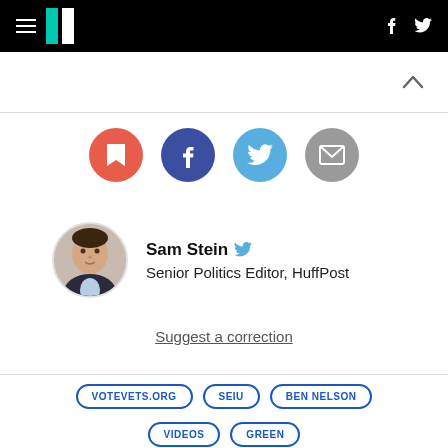HuffPost navigation bar with hamburger menu, logo, Facebook and Twitter icons
[Figure (infographic): Four circular social share buttons: bookmark (red), Facebook (dark blue), Twitter (light blue), email (gray)]
Sam Stein — Senior Politics Editor, HuffPost
Suggest a correction
VOTEVETS.ORG
SEIU
BEN NELSON
VIDEOS
GREEN